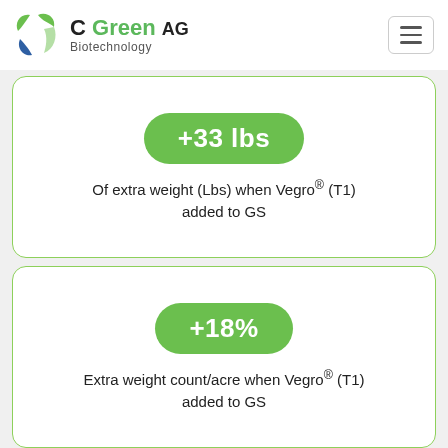[Figure (logo): C Green AG Biotechnology company logo with circular leaf/arrow icon in green and blue]
+33 lbs
Of extra weight (Lbs) when Vegro® (T1) added to GS
+18%
Extra weight count/acre when Vegro® (T1) added to GS